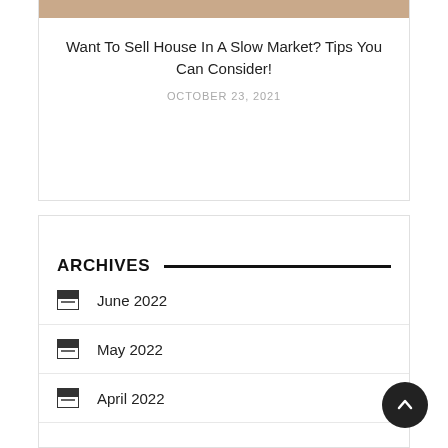[Figure (photo): Partial image of a house interior or exterior with brownish/tan color at the top of the card]
Want To Sell House In A Slow Market? Tips You Can Consider!
OCTOBER 23, 2021
ARCHIVES
June 2022
May 2022
April 2022